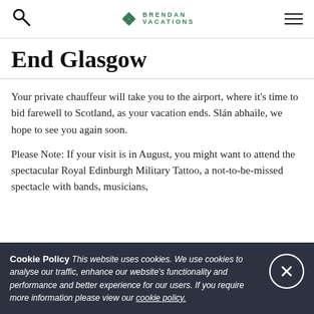Brendan Vacations
End Glasgow
Your private chauffeur will take you to the airport, where it's time to bid farewell to Scotland, as your vacation ends. Slán abhaile, we hope to see you again soon.
Please Note: If your visit is in August, you might want to attend the spectacular Royal Edinburgh Military Tattoo, a not-to-be-missed spectacle with bands, musicians,
Cookie Policy This website uses cookies. We use cookies to analyse our traffic, enhance our website's functionality and performance and better experience for our users. If you require more information please view our cookie policy.